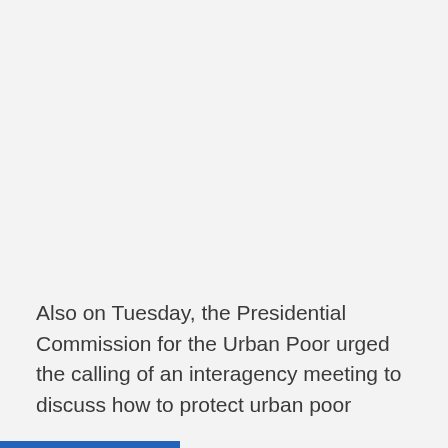Also on Tuesday, the Presidential Commission for the Urban Poor urged the calling of an interagency meeting to discuss how to protect urban poor